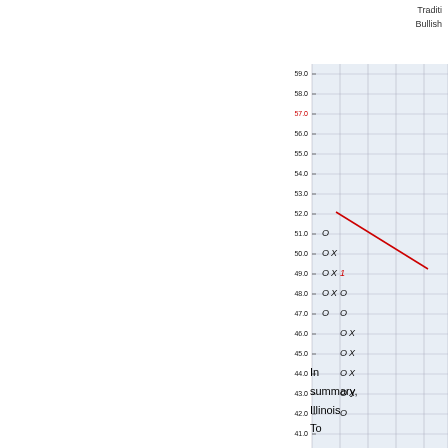Traditi
Bullish
[Figure (other): Point and figure chart showing price levels from 23.0 to 59.0. Chart contains O and X markers with a red diagonal trend line. Price axis on left, date column '08' at bottom. Notable entries: O at 51.0, OX at 50.0, OX 1 at 49.0, OXO at 48.0, O O at 47.0, OX at 46.0, OX at 45.0, OX at 44.0, OX at 43.0, O at 42.0. Red line crosses from upper left to right around 51-52 level.]
In summary, Illinois To...